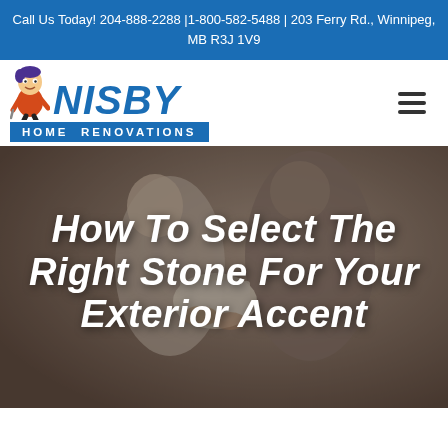Call Us Today! 204-888-2288 | 1-800-582-5488 | 203 Ferry Rd., Winnipeg, MB R3J 1V9
[Figure (logo): Nisby Home Renovations logo with mascot character and blue banner]
How To Select The Right Stone For Your Exterior Accent
[Figure (photo): Background photo showing two people looking at documents/plans, dimly lit with dark overlay]